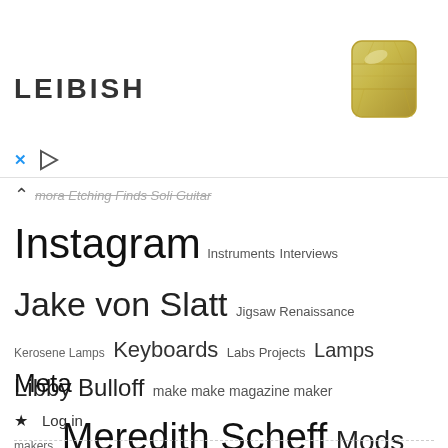[Figure (screenshot): Advertisement banner for LEIBISH with logo text and a yellow/green diamond gem image, with close (x) and play button controls at bottom left]
Instagram Instruments Interviews Jake von Slatt Jigsaw Renaissance Kerosene Lamps Keyboards Labs Projects Lamps Libby Bulloff make make magazine maker makers Meredith Scheff Mods Monitors Photography Project Science sculpture Steam Sub-culture Tools Upcycling Vehicles videos Wimshurst
Meta
Log in
Entries feed
Comments feed